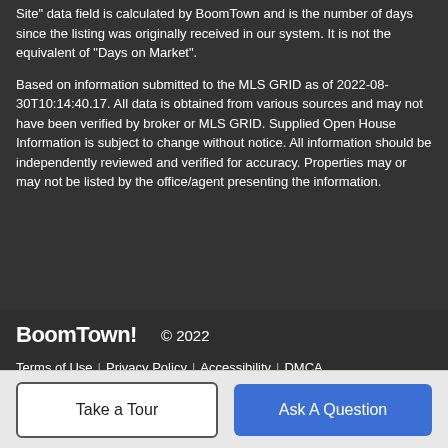Site" data field is calculated by BoomTown and is the number of days since the listing was originally received in our system. It is not the equivalent of "Days on Market".
Based on information submitted to the MLS GRID as of 2022-08-30T10:14:40.17. All data is obtained from various sources and may not have been verified by broker or MLS GRID. Supplied Open House Information is subject to change without notice. All information should be independently reviewed and verified for accuracy. Properties may or may not be listed by the office/agent presenting the information.
BoomTown! © 2022 | Terms of Use | Privacy Policy | Accessibility | DMCA | Listings Sitemap
Take a Tour | Ask A Question